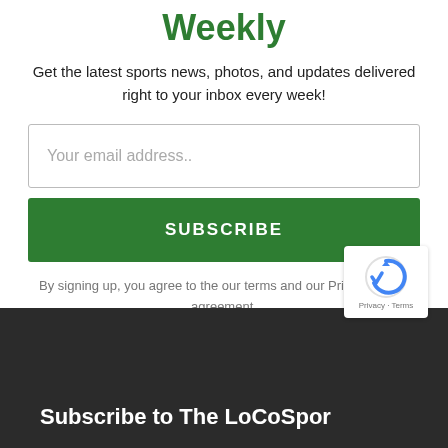Weekly
Get the latest sports news, photos, and updates delivered right to your inbox every week!
Your email address..
SUBSCRIBE
By signing up, you agree to the our terms and our Privacy Policy agreement.
Subscribe to The LoCoSport Weekly